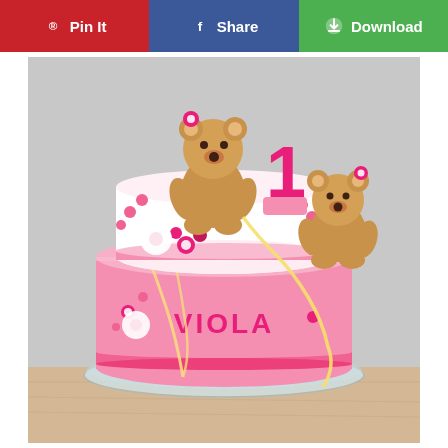Pin It  Share  Download
[Figure (photo): A two-tier pink birthday cake decorated with two fondant teddy bears, a pink number '1', pink flowers, and the name 'VIOLA' written on the bottom tier. The cake sits on a glass cake stand on a wooden surface.]